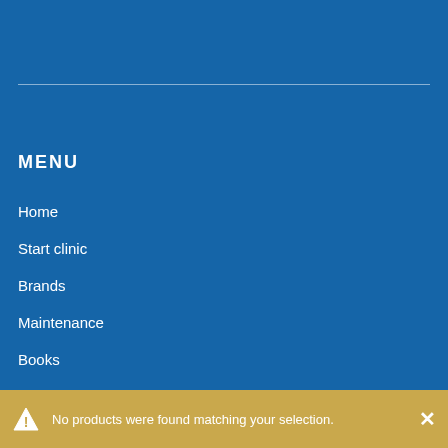MENU
Home
Start clinic
Brands
Maintenance
Books
Request for supply
No products were found matching your selection.